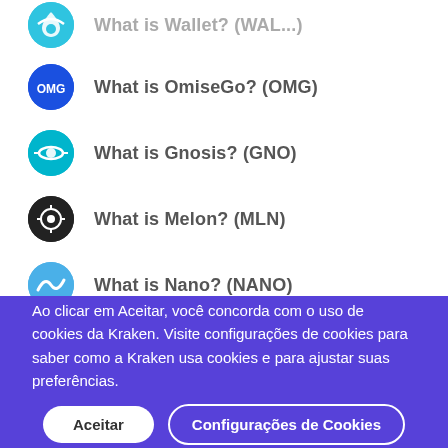What is OmiseGo? (OMG)
What is Gnosis? (GNO)
What is Melon? (MLN)
What is Nano? (NANO)
What is Dogecoin? (DOGE)
Ao clicar em Aceitar, você concorda com o uso de cookies da Kraken. Visite configurações de cookies para saber como a Kraken usa cookies e para ajustar suas preferências.
Aceitar
Configurações de Cookies